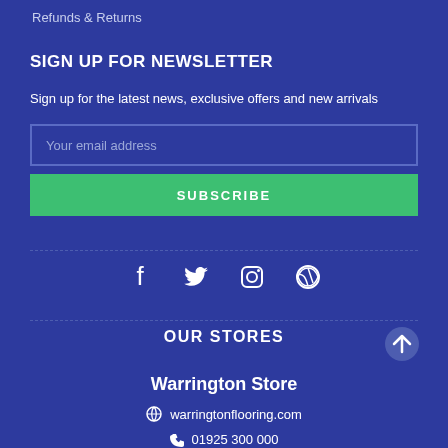Refunds & Returns
SIGN UP FOR NEWSLETTER
Sign up for the latest news, exclusive offers and new arrivals
Your email address
SUBSCRIBE
[Figure (infographic): Social media icons: Facebook, Twitter, Instagram, WordPress]
OUR STORES
Warrington Store
warringtonflooring.com
01925 300 000